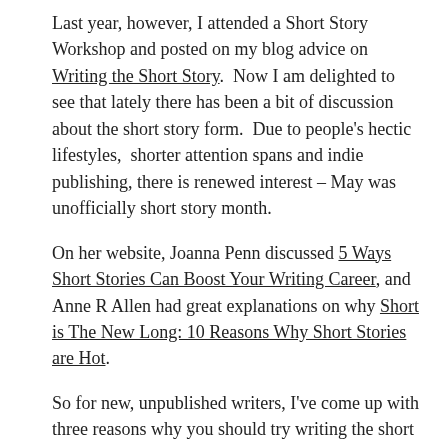Last year, however, I attended a Short Story Workshop and posted on my blog advice on Writing the Short Story.  Now I am delighted to see that lately there has been a bit of discussion about the short story form.  Due to people's hectic lifestyles,  shorter attention spans and indie publishing, there is renewed interest – May was unofficially short story month.
On her website, Joanna Penn discussed 5 Ways Short Stories Can Boost Your Writing Career, and Anne R Allen had great explanations on why Short is The New Long: 10 Reasons Why Short Stories are Hot.
So for new, unpublished writers, I've come up with three reasons why you should try writing the short story:
1. Short stories help you get to the point quickly.